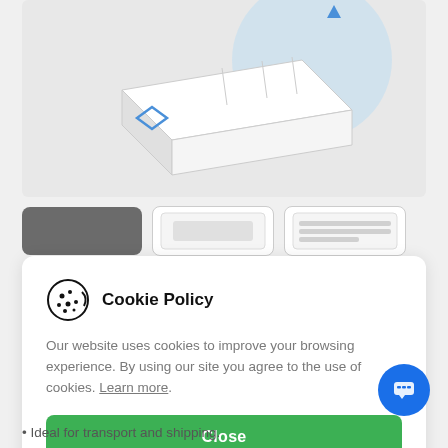[Figure (photo): Product image area showing a white box/packaging with blue diamond design element on a light gray background]
[Figure (screenshot): Thumbnail strip with three product view buttons: first active (dark gray), second and third inactive (white/outlined)]
Cookie Policy
Our website uses cookies to improve your browsing experience. By using our site you agree to the use of cookies. Learn more.
Ideal for transport and shipping.